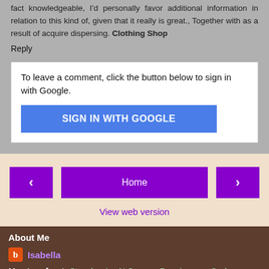fact knowledgeable, I'd personally favor additional information in relation to this kind of, given that it really is great., Together with as a result of acquire dispersing. Clothing Shop
Reply
To leave a comment, click the button below to sign in with Google.
SIGN IN WITH GOOGLE
Home
View web version
About Me
Isabella
My store front: Strawberries N Creame Renaissance Garb